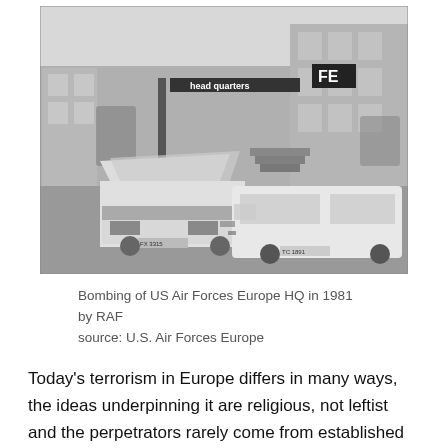[Figure (photo): Black and white photograph showing the aftermath of a bombing at US Air Forces Europe HQ in 1981. Two damaged cars are visible in the foreground, with one car having its hood blown open. A building with a sign reading 'head quarters' and 'FE' is visible in the background.]
Bombing of US Air Forces Europe HQ in 1981 by RAF
source: U.S. Air Forces Europe
Today's terrorism in Europe differs in many ways, the ideas underpinning it are religious, not leftist and the perpetrators rarely come from established middle class societies. Yet, it is surprising that in the debates today on the attack on Charlie Hebdo and other targets are devoid